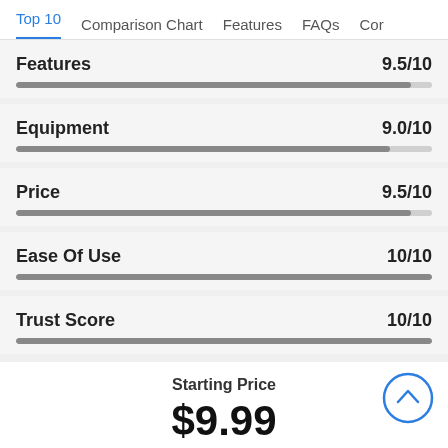Top 10  Comparison Chart  Features  FAQs  Cor
Features
Equipment
Price
Ease Of Use
Trust Score
Starting Price
$9.99